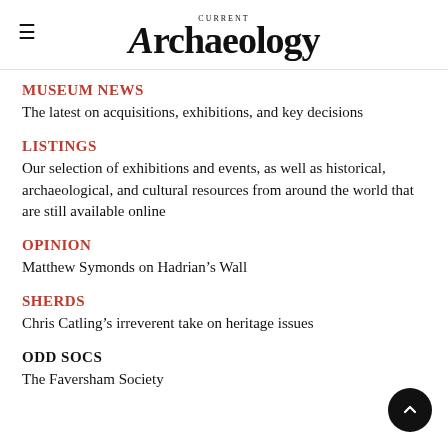Current Archaeology
MUSEUM NEWS
The latest on acquisitions, exhibitions, and key decisions
LISTINGS
Our selection of exhibitions and events, as well as historical, archaeological, and cultural resources from around the world that are still available online
OPINION
Matthew Symonds on Hadrian’s Wall
SHERDS
Chris Catling’s irreverent take on heritage issues
ODD SOCS
The Faversham Society